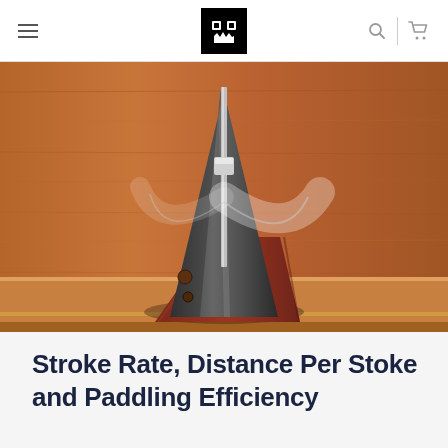Navigation header with hamburger menu, logo, search and cart icons
[Figure (photo): Close-up photograph of a mechanical metronome with a wooden base in reddish-brown color, a black triangular body with a metal pendulum rod, set against a wooden background. The pendulum is shown in motion with a blur arc.]
Stroke Rate, Distance Per Stoke and Paddling Efficiency